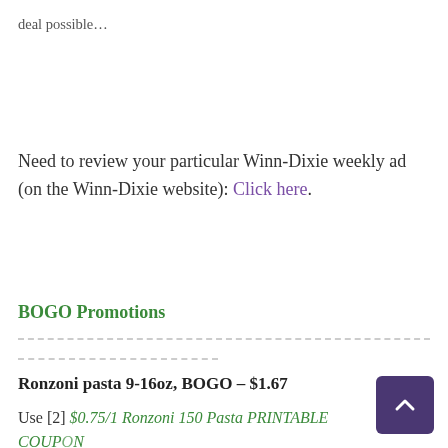deal possible…
Need to review your particular Winn-Dixie weekly ad (on the Winn-Dixie website): Click here.
BOGO Promotions
Ronzoni pasta 9-16oz, BOGO – $1.67
Use [2] $0.75/1 Ronzoni 150 Pasta PRINTABLE COUPON (manufacturer)